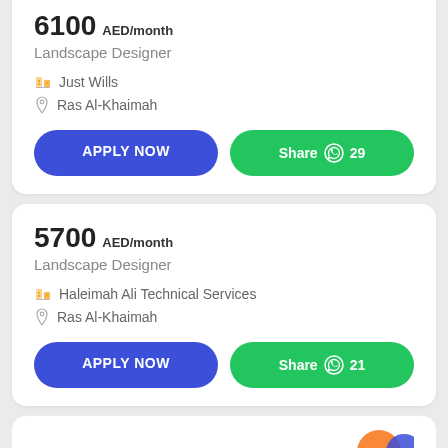6100 AED/month
Landscape Designer
Just Wills
Ras Al-Khaimah
APPLY NOW
Share 29
5700 AED/month
Landscape Designer
Haleimah Ali Technical Services
Ras Al-Khaimah
APPLY NOW
Share 21